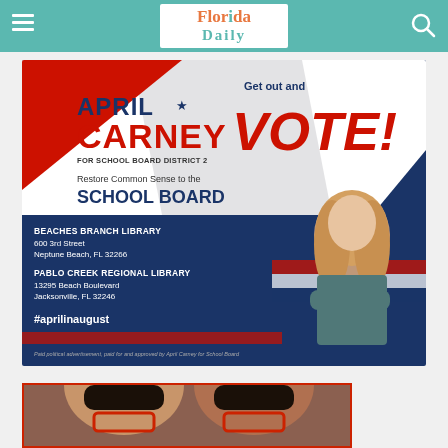Florida Daily
[Figure (infographic): Political advertisement for April Carney for School Board District 2. Text reads: APRIL CARNEY FOR SCHOOL BOARD DISTRICT 2. Get out and VOTE! Restore Common Sense to the SCHOOL BOARD. BEACHES BRANCH LIBRARY 600 3rd Street Neptune Beach, FL 32266. PABLO CREEK REGIONAL LIBRARY 13295 Beach Boulevard Jacksonville, FL 32246. #aprilinaugust. Paid political advertisement, paid for and approved by April Carney for School Board.]
[Figure (photo): Partial photo of a person visible at the bottom of the page, cropped.]